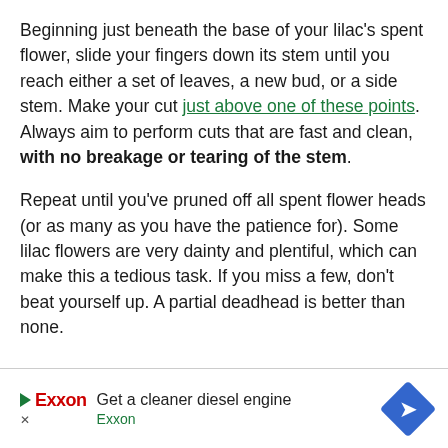Beginning just beneath the base of your lilac's spent flower, slide your fingers down its stem until you reach either a set of leaves, a new bud, or a side stem. Make your cut just above one of these points. Always aim to perform cuts that are fast and clean, with no breakage or tearing of the stem.
Repeat until you've pruned off all spent flower heads (or as many as you have the patience for). Some lilac flowers are very dainty and plentiful, which can make this a tedious task. If you miss a few, don't beat yourself up. A partial deadhead is better than none.
[Figure (infographic): Exxon advertisement banner: Get a cleaner diesel engine, with Exxon logo and blue diamond arrow icon]